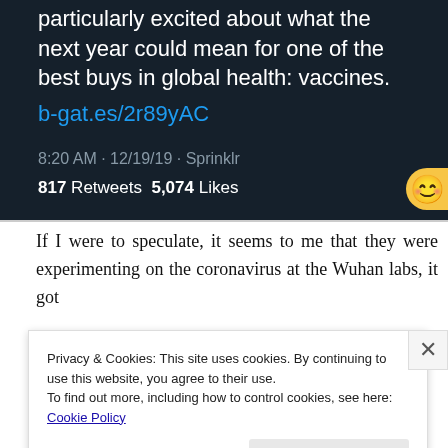[Figure (screenshot): Screenshot of a tweet showing partial text 'particularly excited about what the next year could mean for one of the best buys in global health: vaccines.' with link b-gat.es/2r89yAC, timestamp '8:20 AM · 12/19/19 · Sprinklr', and engagement stats '817 Retweets 5,074 Likes']
If I were to speculate, it seems to me that they were experimenting on the coronavirus at the Wuhan labs, it got
Privacy & Cookies: This site uses cookies. By continuing to use this website, you agree to their use.
To find out more, including how to control cookies, see here: Cookie Policy